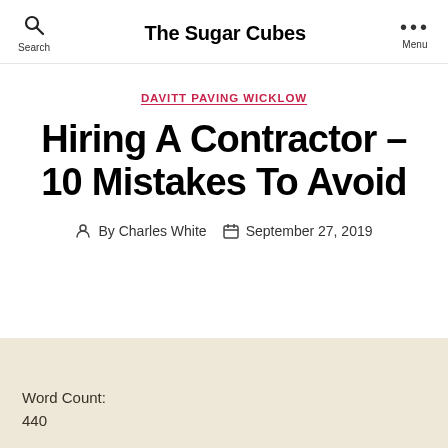The Sugar Cubes
DAVITT PAVING WICKLOW
Hiring A Contractor – 10 Mistakes To Avoid
By Charles White   September 27, 2019
Word Count:
440